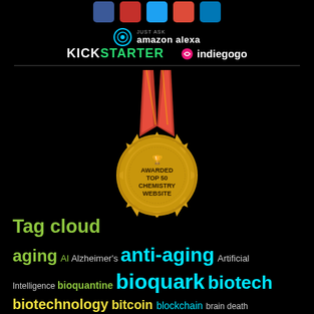[Figure (logo): Social media icons row: Facebook, YouTube, Twitter, Google+, LinkedIn buttons]
[Figure (logo): Amazon Alexa logo with circular icon and 'JUST ASK amazon alexa' text]
[Figure (logo): KICKSTARTER and indiegogo logos side by side]
[Figure (illustration): Gold medal with red ribbon awarded 'AWARDED TOP 50 CHEMISTRY WEBSITE']
Tag cloud
aging AI Alzheimer's anti-aging Artificial Intelligence bioquantine bioquark biotech biotechnology bitcoin blockchain brain death